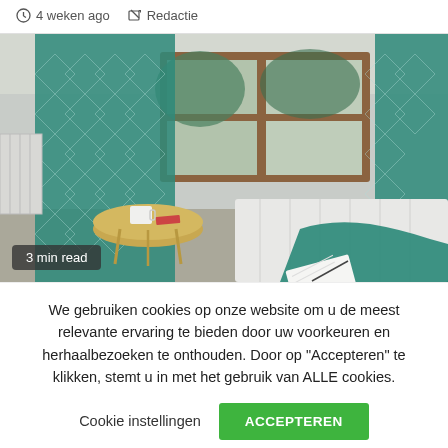4 weken ago  Redactie
[Figure (photo): Bedroom interior with teal curtains, wooden window frame, a round gold side table with a mug and notebook, a bed with teal throw blanket, notebook on floor. Badge reads '3 min read'.]
We gebruiken cookies op onze website om u de meest relevante ervaring te bieden door uw voorkeuren en herhaalbezoeken te onthouden. Door op “Accepteren” te klikken, stemt u in met het gebruik van ALLE cookies.
Cookie instellingen  ACCEPTEREN